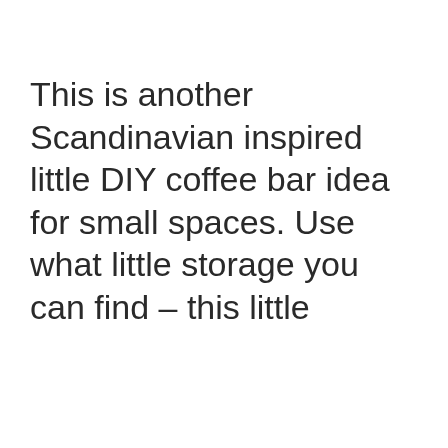This is another Scandinavian inspired little DIY coffee bar idea for small spaces. Use what little storage you can find – this little